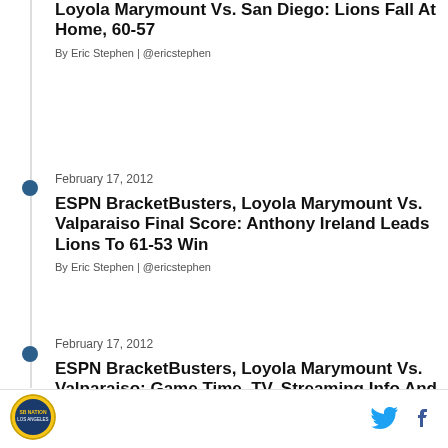Loyola Marymount Vs. San Diego: Lions Fall At Home, 60-57
By Eric Stephen | @ericstephen
February 17, 2012
ESPN BracketBusters, Loyola Marymount Vs. Valparaiso Final Score: Anthony Ireland Leads Lions To 61-53 Win
By Eric Stephen | @ericstephen
February 17, 2012
ESPN BracketBusters, Loyola Marymount Vs. Valparaiso: Game Time, TV, Streaming Info And More